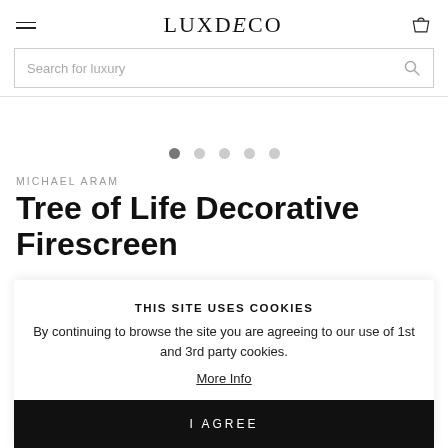LUXDECO
Search for luxury
[Figure (other): Carousel pagination dots – 5 dots, first active]
MICHAEL ARAM
Tree of Life Decorative Firescreen
THIS SITE USES COOKIES
By continuing to browse the site you are agreeing to our use of 1st and 3rd party cookies.
More Info
I AGREE